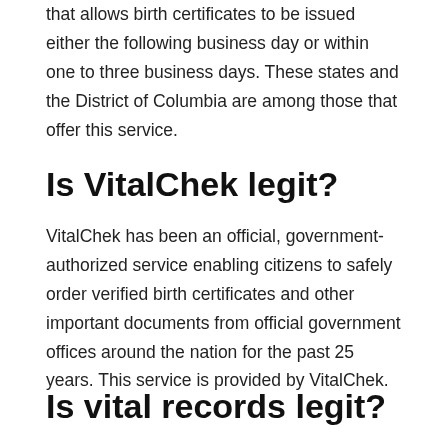that allows birth certificates to be issued either the following business day or within one to three business days. These states and the District of Columbia are among those that offer this service.
Is VitalChek legit?
VitalChek has been an official, government-authorized service enabling citizens to safely order verified birth certificates and other important documents from official government offices around the nation for the past 25 years. This service is provided by VitalChek.
Is vital records legit?
There is no doubt that Vital Records Gov is a genuine and reputable service provider that is committed to assisting you in acquiring the essential governmental papers that you want. Our organization is based in the United States, and the people who